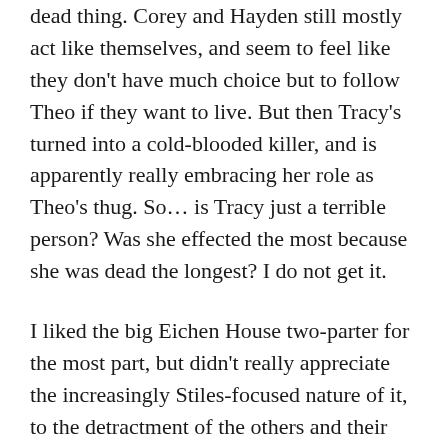dead thing. Corey and Hayden still mostly act like themselves, and seem to feel like they don't have much choice but to follow Theo if they want to live. But then Tracy's turned into a cold-blooded killer, and is apparently really embracing her role as Theo's thug. So… is Tracy just a terrible person? Was she effected the most because she was dead the longest? I do not get it.
I liked the big Eichen House two-parter for the most part, but didn't really appreciate the increasingly Stiles-focused nature of it, to the detractment of the others and their friendship with Lydia? Especially at the end, when she tells her mother that Stiles, specifically, saved her. Yuck. Where the hell was her mum before that,